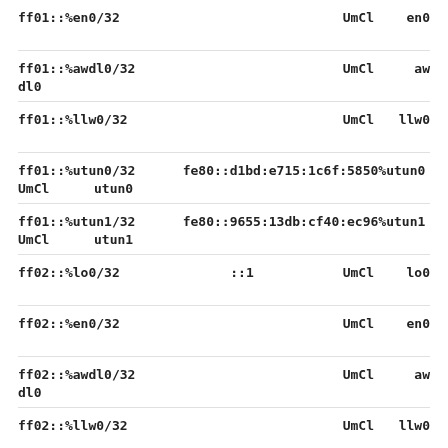ff01::%en0/32   UmCl   en0
ff01::%awdl0/32   UmCl   awdl0
ff01::%llw0/32   UmCl   llw0
ff01::%utun0/32   fe80::d1bd:e715:1c6f:5850%utun0   UmCl   utun0
ff01::%utun1/32   fe80::9655:13db:cf40:ec96%utun1   UmCl   utun1
ff02::%lo0/32   ::1   UmCl   lo0
ff02::%en0/32   UmCl   en0
ff02::%awdl0/32   UmCl   awdl0
ff02::%llw0/32   UmCl   llw0